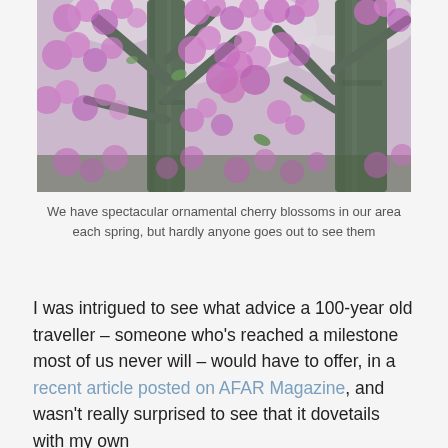[Figure (photo): Upward-looking photograph of ornamental cherry blossom trees in full bloom, showing pink/purple clusters of flowers against a pale sky, with two large tree trunks visible.]
We have spectacular ornamental cherry blossoms in our area each spring, but hardly anyone goes out to see them
I was intrigued to see what advice a 100-year old traveller – someone who's reached a milestone most of us never will – would have to offer, in a recent article posted on AFAR Magazine, and wasn't really surprised to see that it dovetails with my own